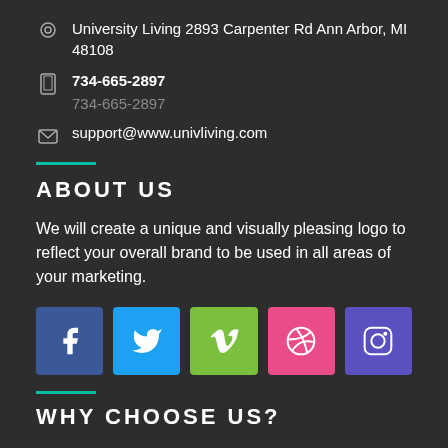University Living 2893 Carpenter Rd Ann Arbor, MI 48108
734-665-2897
734-665-2897
support@www.univliving.com
ABOUT US
We will create a unique and visually pleasing logo to reflect your overall brand to be used in all areas of your marketing.
[Figure (infographic): Row of 5 social media icons: Facebook (blue), Twitter (light blue), Vimeo (green), Dribbble (pink), Instagram (purple)]
WHY CHOOSE US?